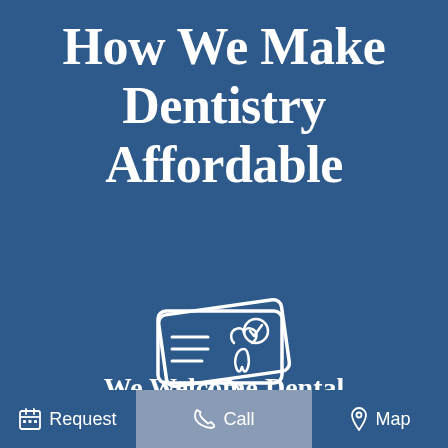How We Make Dentistry Affordable
[Figure (illustration): White line icon of two dental insurance cards overlapping, featuring horizontal lines and a tooth with a checkmark symbol]
We Welcome Dental Insurance
Request  |  Call  |  Map